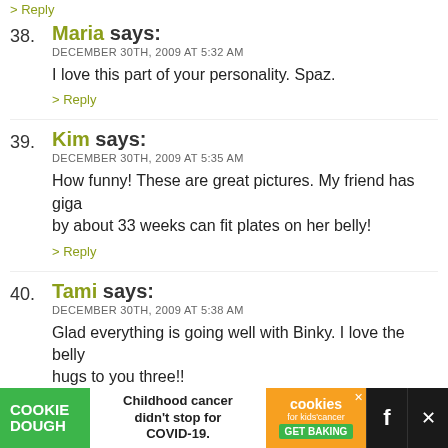> Reply (top)
38. Maria says: DECEMBER 30TH, 2009 AT 5:32 AM — I love this part of your personality. Spaz. > Reply
39. Kim says: DECEMBER 30TH, 2009 AT 5:35 AM — How funny! These are great pictures. My friend has giga by about 33 weeks can fit plates on her belly! > Reply
40. Tami says: DECEMBER 30TH, 2009 AT 5:38 AM — Glad everything is going well with Binky. I love the belly hugs to you three!! > Reply
[Figure (infographic): Cookie Dough ad banner: 'Childhood cancer didn't stop for COVID-19. COOKIE DOUGH / cookies for kids cancer GET BAKING']